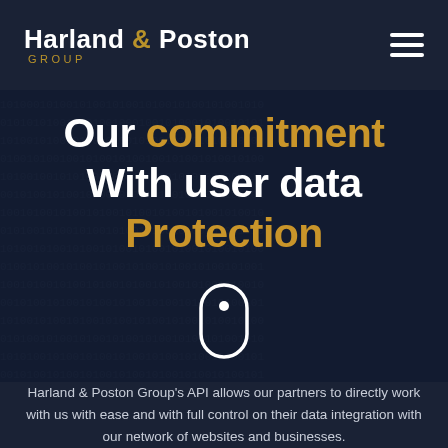[Figure (logo): Harland & Poston Group logo — white bold text with gold ampersand, gold GROUP subtitle in small caps]
[Figure (illustration): Hero banner with dark overlay on binary-digit and person background, containing the headline text and a scroll indicator mouse icon]
Our commitment With user data Protection
[Figure (illustration): White outlined mouse/scroll indicator icon with a dot inside]
Harland & Poston Group's API allows our partners to directly work with us with ease and with full control on their data integration with our network of websites and businesses.